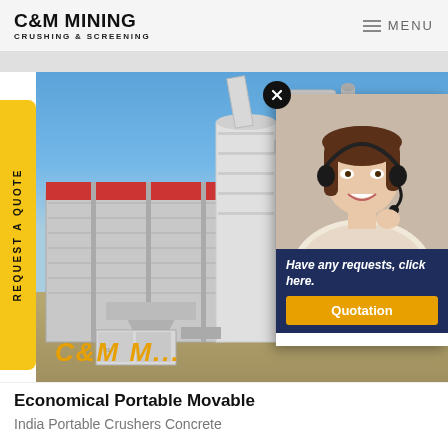C&M MINING CRUSHING & SCREENING
[Figure (screenshot): Industrial mining/crushing plant facility with large white machinery, cyclones, and conveyors against a blue sky. Yellow 'REQUEST A QUOTE' side tab on the left. C&M watermark text overlaid. A popup overlay on the right shows a customer service woman wearing a headset, with text 'Have any requests, click here.' and an orange 'Quotation' button on a dark navy background.]
Economical Portable Movable
India Portable Crushers Concrete